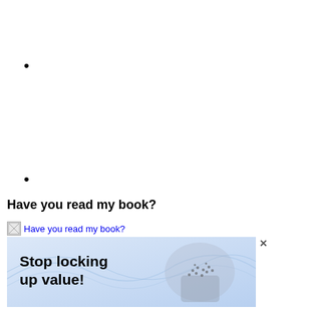•
•
Have you read my book?
[Figure (illustration): Broken image placeholder with alt text: Have you read my book?]
[Figure (illustration): Advertisement banner with wavy line design and crowd forming a padlock shape. Text reads: Stop locking up value!]